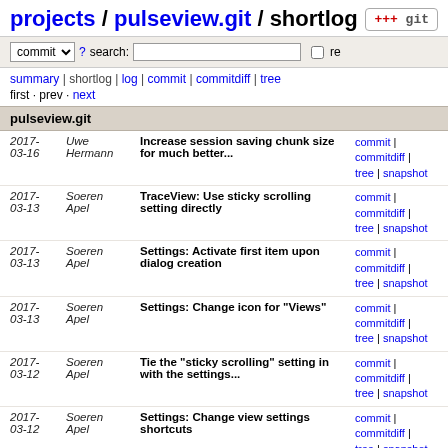projects / pulseview.git / shortlog
commit search: re
summary | shortlog | log | commit | commitdiff | tree
first · prev · next
pulseview.git
| Date | Author | Message | Links |
| --- | --- | --- | --- |
| 2017-03-16 | Uwe Hermann | Increase session saving chunk size for much better... | commit | commitdiff | tree | snapshot |
| 2017-03-13 | Soeren Apel | TraceView: Use sticky scrolling setting directly | commit | commitdiff | tree | snapshot |
| 2017-03-13 | Soeren Apel | Settings: Activate first item upon dialog creation | commit | commitdiff | tree | snapshot |
| 2017-03-13 | Soeren Apel | Settings: Change icon for "Views" | commit | commitdiff | tree | snapshot |
| 2017-03-12 | Soeren Apel | Tie the "sticky scrolling" setting in with the settings... | commit | commitdiff | tree | snapshot |
| 2017-03-12 | Soeren Apel | Settings: Change view settings shortcuts | commit | commitdiff | tree | snapshot |
| 2017-03-12 | Soeren Apel | Integrate the about dialog into the settings dialog | commit | commitdiff | tree | snapshot |
| 2017-03-12 | Soeren Apel | Settings: Prettify the settings dialog | commit | commitdiff | tree | snapshot |
| 2017-03-12 | Soeren Apel | Session: Don't reset session... | commit | commitdiff |